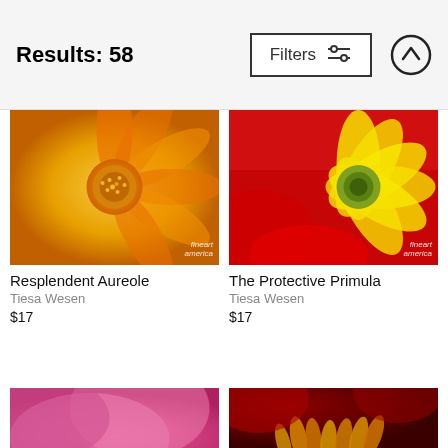Results: 58  Filters
[Figure (photo): Close-up macro photo of an orange/yellow flower with detailed center stamens]
Resplendent Aureole
Tiesa Wesen
$17
[Figure (photo): Close-up macro photo of a yellow flower against a bright red background]
The Protective Primula
Tiesa Wesen
$17
[Figure (photo): Close-up macro photo of pink flower petals layered together]
[Figure (photo): Close-up macro photo of red and orange flower stamens/center]